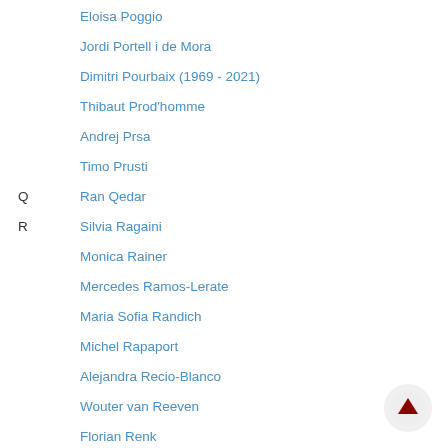Eloisa Poggio
Jordi Portell i de Mora
Dimitri Pourbaix (1969 - 2021)
Thibaut Prod'homme
Andrej Prsa
Timo Prusti
Q   Ran Qedar
R   Silvia Ragaini
Monica Rainer
Mercedes Ramos-Lerate
Maria Sofia Randich
Michel Rapaport
Alejandra Recio-Blanco
Wouter van Reeven
Florian Renk
Céline Reylé
Daniel Risquez
Alberto Riva
Annie Robin
Tineke Roegiers
Emanuel Rossetti
Gilles Rougier
Sophie Rousset
Nicholas Rowell
Andreas Rudolph
Jan Rybicki (partial)